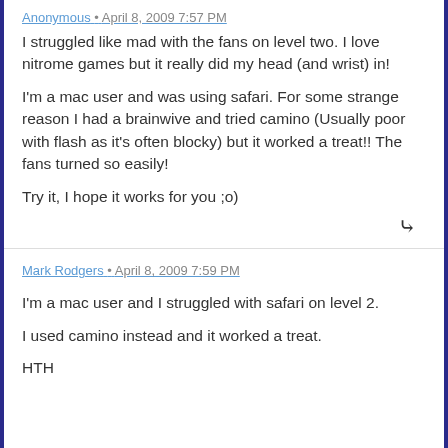Anonymous • April 8, 2009 7:57 PM
I struggled like mad with the fans on level two. I love nitrome games but it really did my head (and wrist) in!
I'm a mac user and was using safari. For some strange reason I had a brainwive and tried camino (Usually poor with flash as it's often blocky) but it worked a treat!! The fans turned so easily!
Try it, I hope it works for you ;o)
Mark Rodgers • April 8, 2009 7:59 PM
I'm a mac user and I struggled with safari on level 2.
I used camino instead and it worked a treat.
HTH